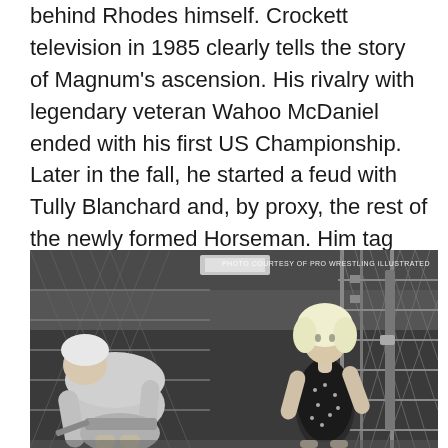behind Rhodes himself. Crockett television in 1985 clearly tells the story of Magnum's ascension. His rivalry with legendary veteran Wahoo McDaniel ended with his first US Championship. Later in the fall, he started a feud with Tully Blanchard and, by proxy, the rest of the newly formed Horseman. Him tag team with Rhodes (as both America's Team and the masked James Gang) put him into a trajectory toward Ric Flair and the World Title.
[Figure (photo): Black and white photo of a wrestling scene near a chain-link fence cage. A muscular wrestler is bent over on the left, and a blonde woman in a sequined outfit stands on the right near the cage door. Photo credit reads: PHOTO COURTESY OF PRO WRESTLING ILLUSTRATED]